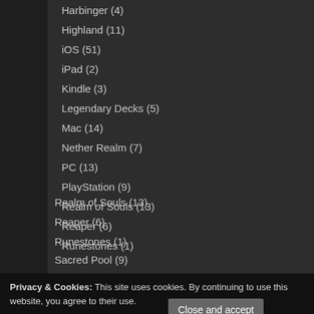Harbinger (4)
Highland (11)
iOS (51)
iPad (2)
Kindle (3)
Legendary Decks (5)
Mac (14)
Nether Realm (7)
PC (13)
PlayStation (9)
Realm of Souls (13)
Reaper (6)
Runestones (1)
Sacred Pool (9)
Sale (8)
Privacy & Cookies: This site uses cookies. By continuing to use this website, you agree to their use. To find out more, including how to control cookies, see here: Cookie Policy
Harry Potter (12)